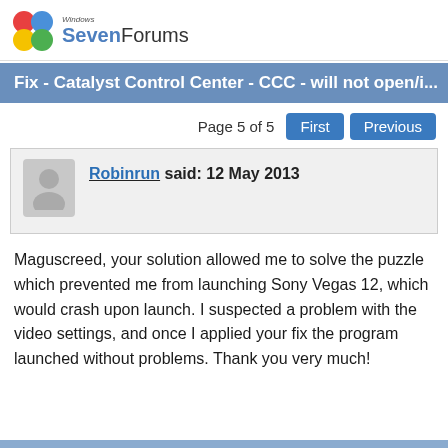Windows SevenForums
Fix - Catalyst Control Center - CCC - will not open/i...
Page 5 of 5
Robinrun said: 12 May 2013
Maguscreed, your solution allowed me to solve the puzzle which prevented me from launching Sony Vegas 12, which would crash upon launch. I suspected a problem with the video settings, and once I applied your fix the program launched without problems. Thank you very much!